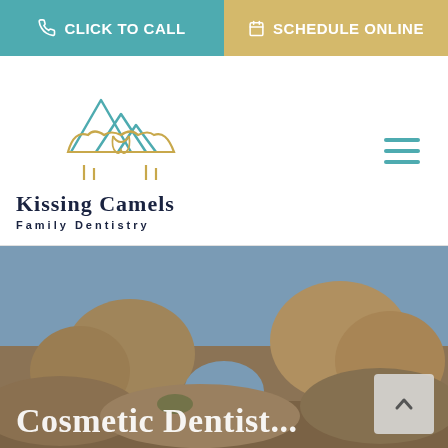CLICK TO CALL | SCHEDULE ONLINE
[Figure (logo): Kissing Camels Family Dentistry logo with mountain and camel outline illustration in teal and gold]
Kissing Camels Family Dentistry
[Figure (photo): Photograph of the Kissing Camels rock formation at Garden of the Gods, showing two camel-shaped sandstone formations against a blue sky]
Cosmetic Dentistry (partial, cut off at bottom)